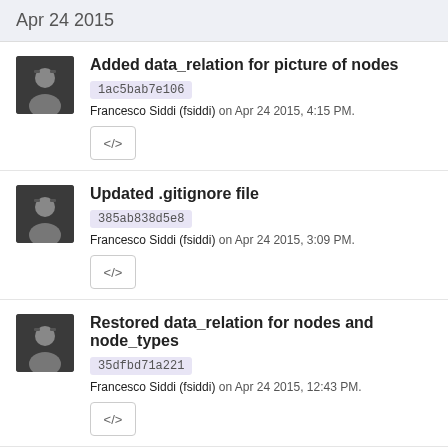Apr 24 2015
Added data_relation for picture of nodes
1ac5bab7e106
Francesco Siddi (fsiddi) on Apr 24 2015, 4:15 PM.
Updated .gitignore file
385ab838d5e8
Francesco Siddi (fsiddi) on Apr 24 2015, 3:09 PM.
Restored data_relation for nodes and node_types
35dfbd71a221
Francesco Siddi (fsiddi) on Apr 24 2015, 12:43 PM.